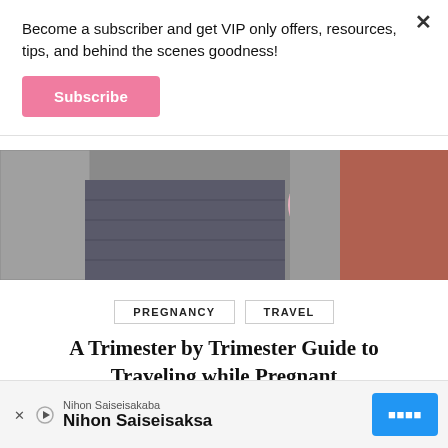Become a subscriber and get VIP only offers, resources, tips, and behind the scenes goodness!
Subscribe
[Figure (photo): A person in a pink dress standing in a cobblestone alleyway between stone walls]
PREGNANCY
TRAVEL
A Trimester by Trimester Guide to Traveling while Pregnant
[Figure (photo): Bottom portion of an image showing sandy/rocky ground with a pink object]
Nihon Saiseisakaba
Nihon Saiseisaksa